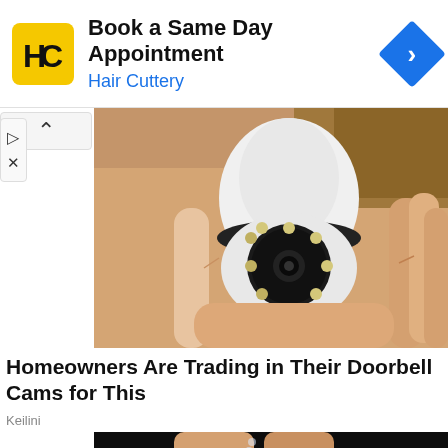[Figure (screenshot): Hair Cuttery advertisement banner with yellow HC logo, text 'Book a Same Day Appointment' and 'Hair Cuttery' in blue, and a blue diamond-shaped arrow icon on the right]
[Figure (photo): A hand holding a small white dome-shaped security camera with a circular lens array in the center surrounded by LED lights]
Homeowners Are Trading in Their Doorbell Cams for This
Keilini
[Figure (photo): Close-up of fingers holding small shiny crystals or glitter particles against a dark background]